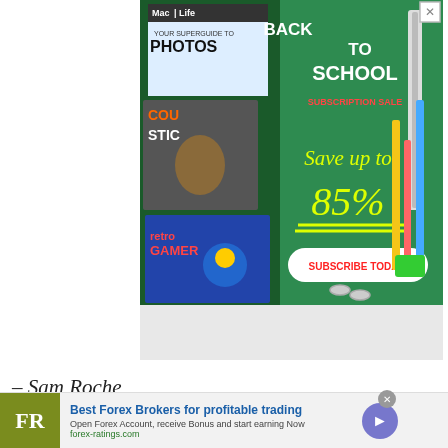[Figure (photo): Mac Life Back to School Subscription Sale advertisement showing magazine covers (Mac Life with PHOTOS superguide, Guitar/Acoustic magazine, Retro Gamer with Sonic) on a green chalkboard background with school supplies. Text reads BACK TO SCHOOL SUBSCRIPTION SALE, Save up to 85%, SUBSCRIBE TODAY!]
– Sam Roche
Advertisement
[Figure (photo): Forex Ratings advertisement banner. FR logo in olive/yellow-green square. Text: Best Forex Brokers for profitable trading. Open Forex Account, receive Bonus and start earning Now. forex-ratings.com. Blue circle arrow button on right.]